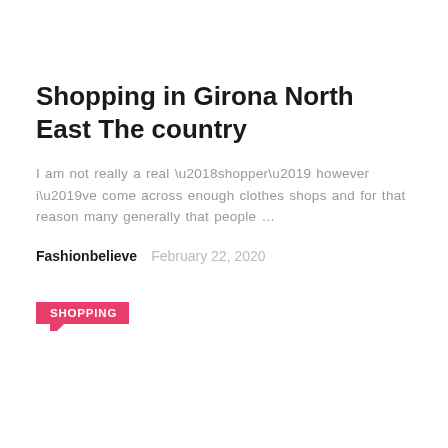Shopping in Girona North East The country
I am not really a real ‘shopper’ however i’ve come across enough clothes shops and for that reason many generally that people …
Fashionbelieve   February 22, 2020
SHOPPING